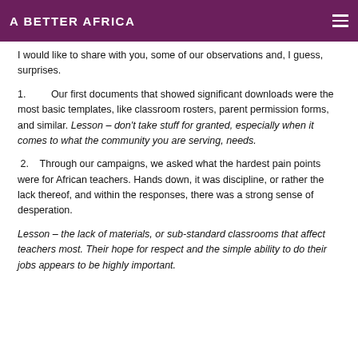A BETTER AFRICA
I would like to share with you, some of our observations and, I guess, surprises.
1. Our first documents that showed significant downloads were the most basic templates, like classroom rosters, parent permission forms, and similar. Lesson – don't take stuff for granted, especially when it comes to what the community you are serving, needs.
2. Through our campaigns, we asked what the hardest pain points were for African teachers. Hands down, it was discipline, or rather the lack thereof, and within the responses, there was a strong sense of desperation.
Lesson – the lack of materials, or sub-standard classrooms that affect teachers most. Their hope for respect and the simple ability to do their jobs appears to be highly important.